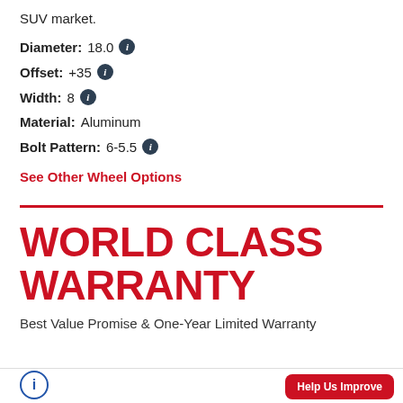SUV market.
Diameter: 18.0
Offset: +35
Width: 8
Material: Aluminum
Bolt Pattern: 6-5.5
See Other Wheel Options
WORLD CLASS WARRANTY
Best Value Promise & One-Year Limited Warranty